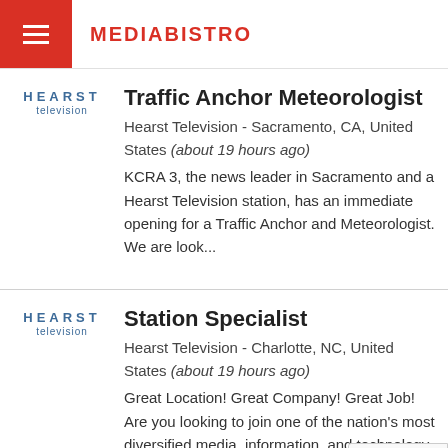MEDIABISTRO
Traffic Anchor Meteorologist
Hearst Television - Sacramento, CA, United States (about 19 hours ago)
KCRA 3, the news leader in Sacramento and a Hearst Television station, has an immediate opening for a Traffic Anchor and Meteorologist. We are look...
Station Specialist
Hearst Television - Charlotte, NC, United States (about 19 hours ago)
Great Location! Great Company! Great Job! Are you looking to join one of the nation's most diversified media, information, and technology compani...